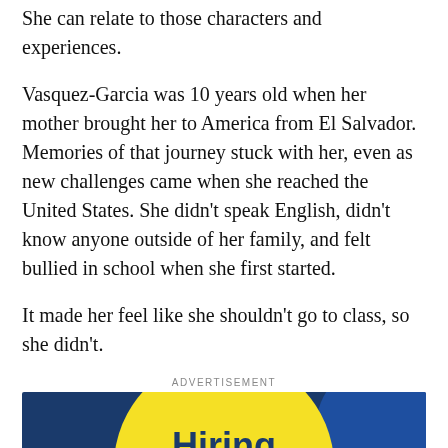She can relate to those characters and experiences.
Vasquez-Garcia was 10 years old when her mother brought her to America from El Salvador. Memories of that journey stuck with her, even as new challenges came when she reached the United States. She didn't speak English, didn't know anyone outside of her family, and felt bullied in school when she first started.
It made her feel like she shouldn't go to class, so she didn't.
ADVERTISEMENT
[Figure (infographic): Hiring Fair advertisement with yellow circle on dark blue background showing 'Hiring Fair' text, Saturday September 17, address 2312 W Casino Rd, and accessibility icon]